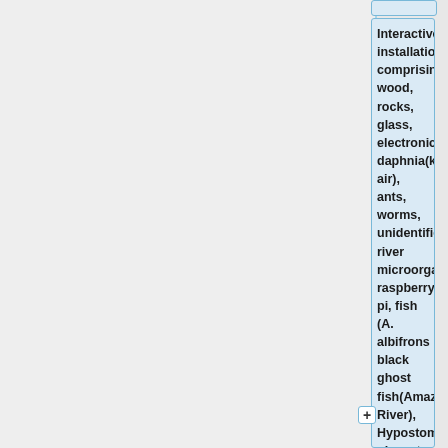Interactive installation comprising wood, rocks, glass, electronics, daphnia(kutu air), ants, worms, unidentified river microorganisms, raspberry pi, fish (A. albifrons black ghost fish(Amazon River), Hypostomus plecostomus(Amazon River), Gambusia